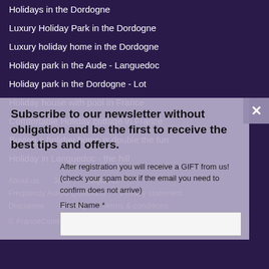Holidays in the Dordogne
Luxury Holiday Park in the Dordogne
Luxury holiday home in the Dordogne
Holiday park in the Aude - Languedoc
Holiday park in the Dordogne - Lot
Holiday house with pool in France
Comfortable Holiday cottage in France
Buying a holiday home is double the fun
Holiday in Languedoc - the hill
Subscribe to our newsletter without obligation and be the first to receive the best tips and offers.
After registration you will receive a GIFT from us! (check your spam box if the email you need to confirm does not arrive)
First Name *
About us   Jobs   Stagiaires
Frequently Asked Questions   Privacy statement
Disclaimer   Sitemap   Terms & conditions
© FranceComfort